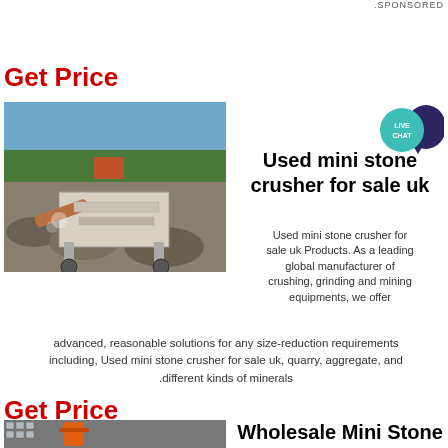.SPONSORED
Get Price
[Figure (photo): A mobile stone crusher machine working outdoors at a quarry site with rock debris and trees in background]
[Figure (illustration): Live Chat bubble icon — teal circle with LIVE CHAT text and dark purple speech bubble]
Used mini stone crusher for sale uk
Used mini stone crusher for sale uk Products. As a leading global manufacturer of crushing, grinding and mining equipments, we offer advanced, reasonable solutions for any size-reduction requirements including, Used mini stone crusher for sale uk, quarry, aggregate, and different kinds of minerals.
Get Price
[Figure (photo): Industrial building exterior with metal structure and orange equipment]
Wholesale Mini Stone Crusher Machine